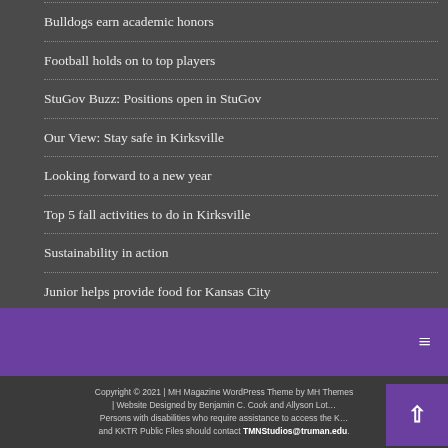Bulldogs earn academic honors
Football holds on to top players
StuGov Buzz: Positions open in StuGov
Our View: Stay safe in Kirksville
Looking forward to a new year
Top 5 fall activities to do in Kirksville
Sustainability in action
Junior helps provide food for Kansas City
Copyright © 2021 | MH Magazine WordPress Theme by MH Themes | Website Designed by Benjamin C. Cook and Allyson Lot… Persons with disabilities who require assistance to access the K… and KKTR Public Files should contact TMNStudios@truman.edu.